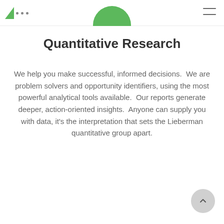Lieberman Research Worldwide logo and navigation
[Figure (illustration): Green circle icon partially visible at top center of page, representing a logo or section icon]
Quantitative Research
We help you make successful, informed decisions.  We are problem solvers and opportunity identifiers, using the most powerful analytical tools available.  Our reports generate deeper, action-oriented insights.  Anyone can supply you with data, it’s the interpretation that sets the Lieberman quantitative group apart.